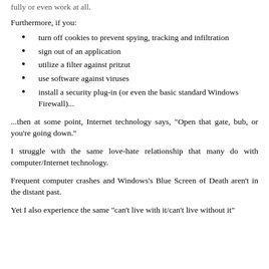fully or even work at all.
Furthermore, if you:
turn off cookies to prevent spying, tracking and infiltration
sign out of an application
utilize a filter against pritzut
use software against viruses
install a security plug-in (or even the basic standard Windows Firewall)...
...then at some point, Internet technology says, "Open that gate, bub, or you're going down."
I struggle with the same love-hate relationship that many do with computer/Internet technology.
Frequent computer crashes and Windows's Blue Screen of Death aren't in the distant past.
Yet I also experience the same "can't live with it/can't live without it"